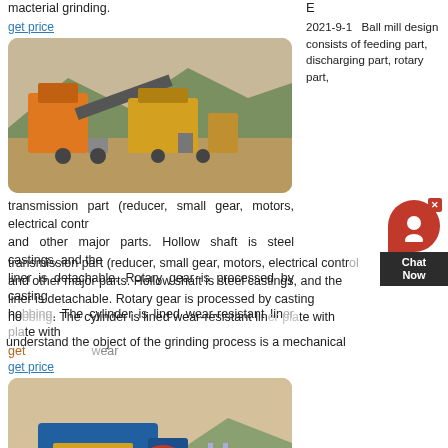macterial grinding.
get price
[Figure (photo): Outdoor industrial crushing/screening machinery on a dirt site with mountains in the background. Equipment is orange and grey.]
2021-9-1  Ball mill design consists of feeding part, discharging part, rotary part, transmission part (reducer, small gear, motors, electrical contr... and other major parts. Hollow shaft is steel castings, and the liner is detachable. Rotary gear is processed by casting hobbing. The cylinder is lined wear-resistant liner plate with g... to wear.
get price
Grinding Mill Design & Ball Mill Manufacturer
[Figure (photo): Large blue industrial jaw crusher machine on a construction/mining site with mountains in the background.]
2017-2-20  All Grinding Mill & Ball Mill Manufacturers understand the object of the grinding process is a mechanical
[Figure (other): Chat Now widget with red circular icon and dark background label]